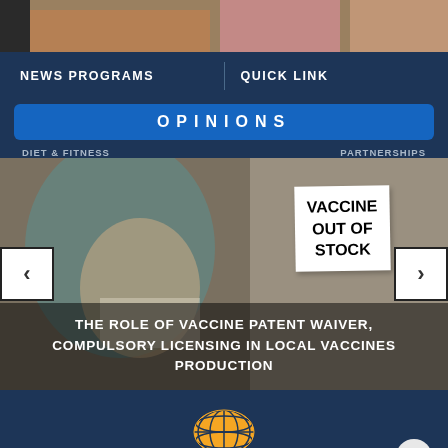[Figure (photo): Top partial photo showing people in colorful attire, cropped]
NEWS PROGRAMS    QUICK LINK
OPINIONS
DIET & FITNESS    PARTNERSHIPS
[Figure (photo): Carousel image: woman wearing mask and teal headscarf standing near a wall with a paper sign reading 'VACCINE OUT OF STOCK']
THE ROLE OF VACCINE PATENT WAIVER, COMPULSORY LICENSING IN LOCAL VACCINES PRODUCTION
[Figure (logo): Health Informatics globe logo in orange/yellow]
HEALTH INFORMATICS